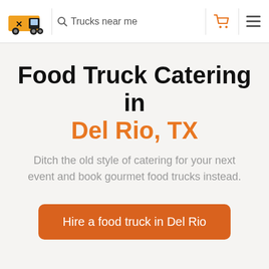Trucks near me
Food Truck Catering in Del Rio, TX
Ditch the old style of catering for your next event and book gourmet food trucks instead.
Hire a food truck in Del Rio